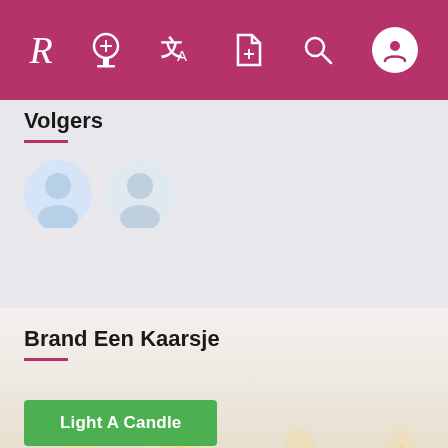Navigation bar with logo R, icons: gravestone, translate, document-add, search, user profile
Volgers
[Figure (illustration): Two light blue circular user avatar icons side by side representing followers]
Brand Een Kaarsje
[Figure (photo): Background photo of glowing tea candles, soft warm light, faded/light overlay]
Light A Candle
Deel Deze Tribute